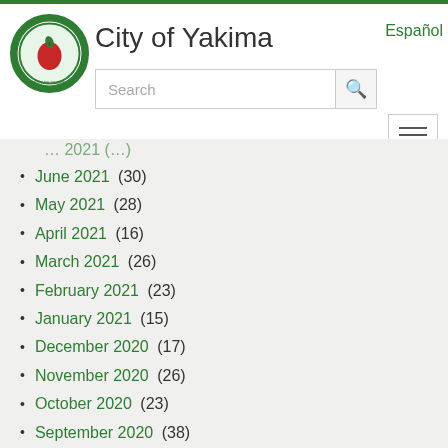City of Yakima
June 2021 (30)
May 2021 (28)
April 2021 (16)
March 2021 (26)
February 2021 (23)
January 2021 (15)
December 2020 (17)
November 2020 (26)
October 2020 (23)
September 2020 (38)
August 2020 (34)
July 2020 (27)
June 2020 (27)